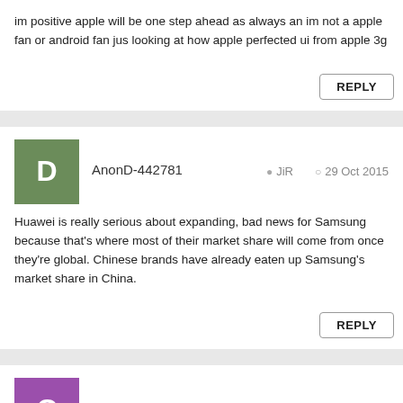im positive apple will be one step ahead as always an im not a apple fan or android fan jus looking at how apple perfected ui from apple 3g
REPLY
AnonD-442781  JiR  29 Oct 2015
Huawei is really serious about expanding, bad news for Samsung because that's where most of their market share will come from once they're global. Chinese brands have already eaten up Samsung's market share in China.
REPLY
copy23  S4s  29 Oct 2015